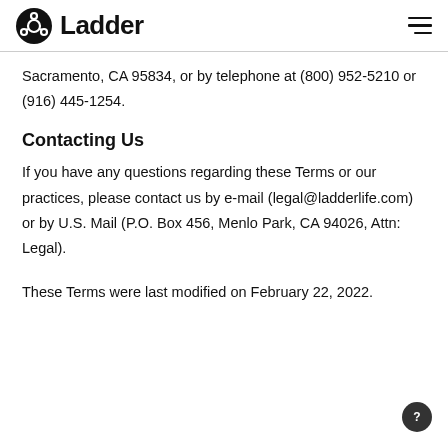Ladder
Sacramento, CA 95834, or by telephone at (800) 952-5210 or (916) 445-1254.
Contacting Us
If you have any questions regarding these Terms or our practices, please contact us by e-mail (legal@ladderlife.com) or by U.S. Mail (P.O. Box 456, Menlo Park, CA 94026, Attn: Legal).
These Terms were last modified on February 22, 2022.